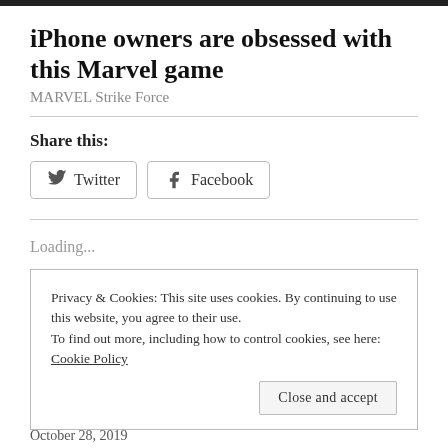iPhone owners are obsessed with this Marvel game
MARVEL Strike Force
Share this:
Twitter
Facebook
Loading...
Privacy & Cookies: This site uses cookies. By continuing to use this website, you agree to their use.
To find out more, including how to control cookies, see here:
Cookie Policy
Close and accept
October 28, 2019